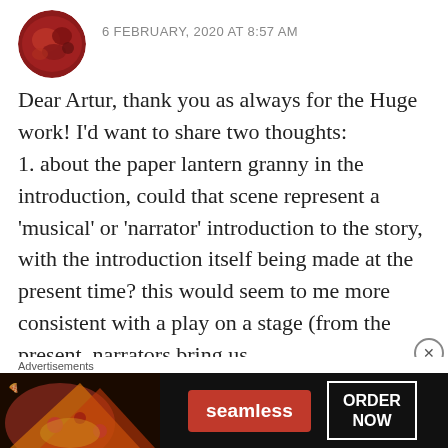6 FEBRUARY, 2020 AT 8:57 AM
Dear Artur, thank you as always for the Huge work! I'd want to share two thoughts:
1. about the paper lantern granny in the introduction, could that scene represent a 'musical' or 'narrator' introduction to the story, with the introduction itself being made at the present time? this would seem to me more consistent with a play on a stage (from the present, narrators bring us
[Figure (photo): Red/dark circular avatar photo]
[Figure (other): Seamless food delivery advertisement banner with pizza image, Seamless logo button, and ORDER NOW button]